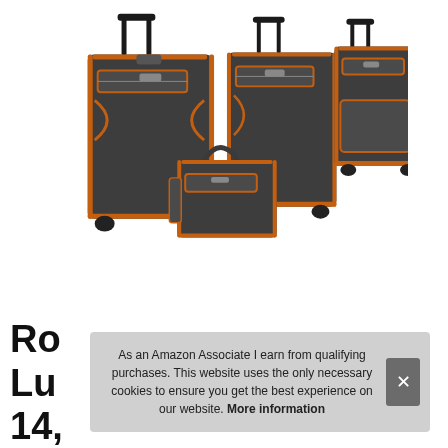[Figure (photo): A set of four gray and orange luggage pieces: two large upright wheeled suitcases, one medium wheeled suitcase, and one travel tote bag. All pieces are dark charcoal gray with orange trim accents.]
Ro
Lu
14,
As an Amazon Associate I earn from qualifying purchases. This website uses the only necessary cookies to ensure you get the best experience on our website. More information